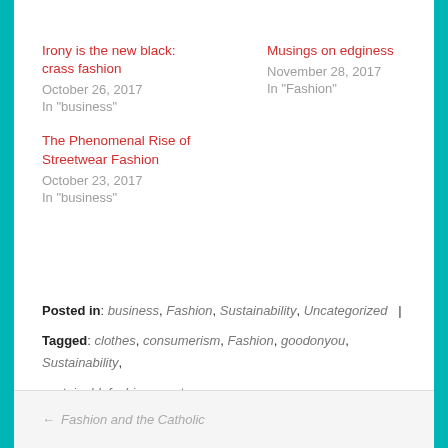Irony is the new black: crass fashion
October 26, 2017
In "business"
Musings on edginess
November 28, 2017
In "Fashion"
The Phenomenal Rise of Streetwear Fashion
October 23, 2017
In "business"
Posted in: business, Fashion, Sustainability, Uncategorized |
Tagged: clothes, consumerism, Fashion, goodonyou, Sustainability, sustainablefashion, waste
← Fashion and the Catholic